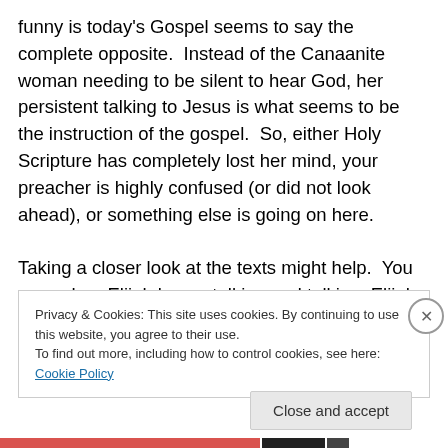funny is today's Gospel seems to say the complete opposite.  Instead of the Canaanite woman needing to be silent to hear God, her persistent talking to Jesus is what seems to be the instruction of the gospel.  So, either Holy Scripture has completely lost her mind, your preacher is highly confused (or did not look ahead), or something else is going on here.

Taking a closer look at the texts might help.  You see, when Elijah keeps talking and talking, Elijah has turned in on himself, is wallowing in fear, and cannot see out of his
Privacy & Cookies: This site uses cookies. By continuing to use this website, you agree to their use.
To find out more, including how to control cookies, see here: Cookie Policy
Close and accept